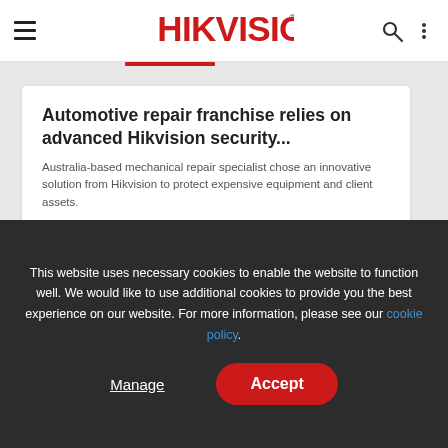HIKVISION
Automotive repair franchise relies on advanced Hikvision security...
Australia-based mechanical repair specialist chose an innovative solution from Hikvision to protect expensive equipment and client assets.
This website uses necessary cookies to enable the website to function well. We would like to use additional cookies to provide you the best experience on our website. For more information, please see our cookie policy.
Manage
Accept